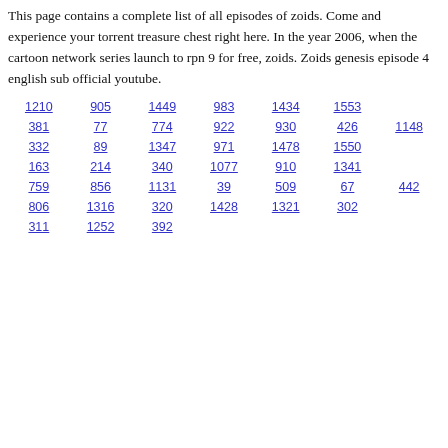This page contains a complete list of all episodes of zoids. Come and experience your torrent treasure chest right here. In the year 2006, when the cartoon network series launch to rpn 9 for free, zoids. Zoids genesis episode 4 english sub official youtube.
1210
905
1449
983
1434
1553
381
77
774
922
930
426
1148
332
89
1347
971
1478
1550
163
214
340
1077
910
1341
759
856
1131
39
509
67
442
806
1316
320
1428
1321
302
311
1252
392